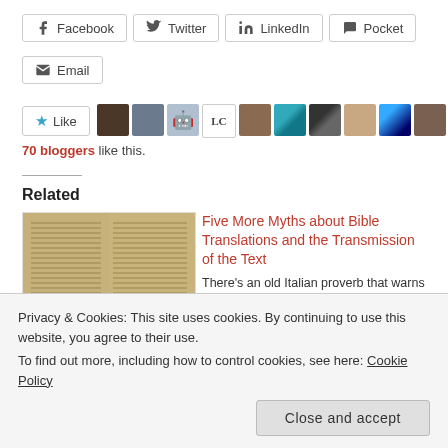Facebook
Twitter
LinkedIn
Pocket
Email
70 bloggers like this.
Related
Five More Myths about Bible Translations and the Transmission of the Text
There's an old Italian proverb that warns translators about
[Figure (photo): Photograph of ancient manuscript / parchment with dense handwritten text in columns]
Privacy & Cookies: This site uses cookies. By continuing to use this website, you agree to their use.
To find out more, including how to control cookies, see here: Cookie Policy
Close and accept